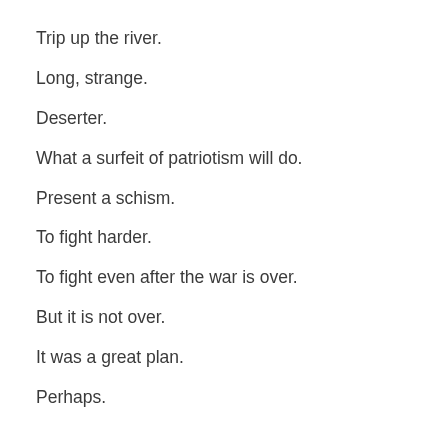Trip up the river.
Long, strange.
Deserter.
What a surfeit of patriotism will do.
Present a schism.
To fight harder.
To fight even after the war is over.
But it is not over.
It was a great plan.
Perhaps.